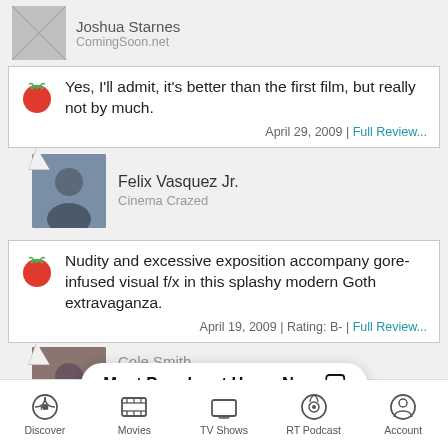Joshua Starnes
ComingSoon.net
Yes, I'll admit, it's better than the first film, but really not by much.
April 29, 2009 | Full Review...
Felix Vasquez Jr.
Cinema Crazed
Nudity and excessive exposition accompany gore-infused visual f/x in this splashy modern Goth extravaganza.
April 19, 2009 | Rating: B- | Full Review...
Most Popular at Home Now
Discover | Movies | TV Shows | RT Podcast | Account